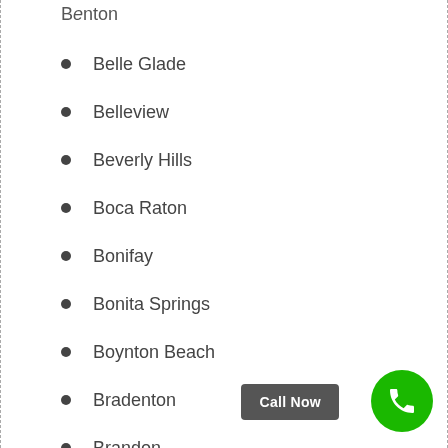Belle Glade
Belleview
Beverly Hills
Boca Raton
Bonifay
Bonita Springs
Boynton Beach
Bradenton
Brandon